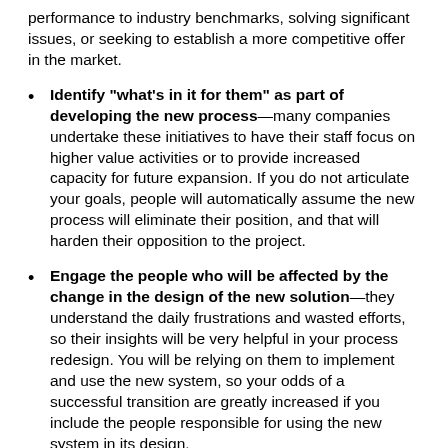performance to industry benchmarks, solving significant issues, or seeking to establish a more competitive offer in the market.
Identify "what's in it for them" as part of developing the new process—many companies undertake these initiatives to have their staff focus on higher value activities or to provide increased capacity for future expansion. If you do not articulate your goals, people will automatically assume the new process will eliminate their position, and that will harden their opposition to the project.
Engage the people who will be affected by the change in the design of the new solution—they understand the daily frustrations and wasted efforts, so their insights will be very helpful in your process redesign. You will be relying on them to implement and use the new system, so your odds of a successful transition are greatly increased if you include the people responsible for using the new system in its design.
Find the right vendor to support your efforts—your vendor should not only provide a functional solution, but it should also be invested with you in seeing that the system gets used by your people and works the